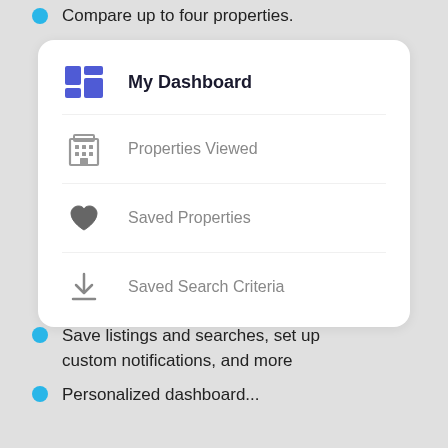Compare up to four properties.
[Figure (screenshot): A white card UI showing a dashboard menu with four items: My Dashboard (active, with blue dashboard icon), Properties Viewed (building icon), Saved Properties (heart icon), and Saved Search Criteria (download icon).]
Save listings and searches, set up custom notifications, and more
Personalized dashboard...